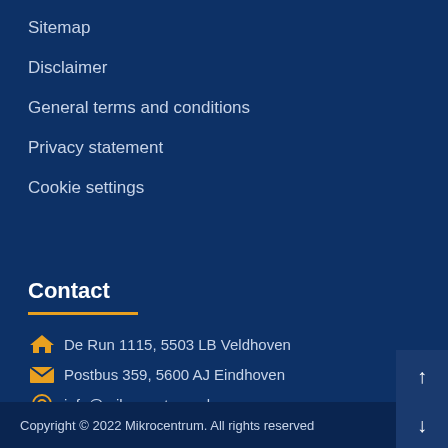Sitemap
Disclaimer
General terms and conditions
Privacy statement
Cookie settings
Contact
De Run 1115, 5503 LB Veldhoven
Postbus 359, 5600 AJ Eindhoven
info@mikrocentrum.nl
+31 (0)40 296 99 11
Copyright © 2022 Mikrocentrum. All rights reserved